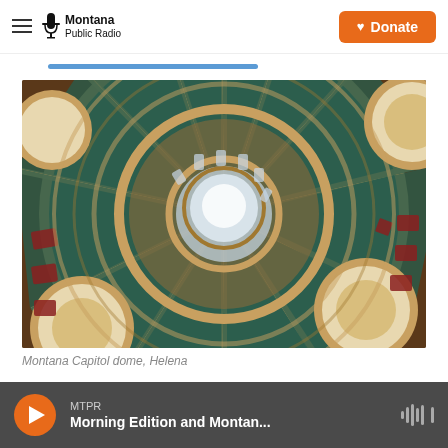Montana Public Radio — Donate
[Figure (photo): Interior view of the Montana Capitol dome in Helena, Montana — ornate painted dome ceiling with circular coffers, figures in circular medallions, and radiating architectural details in gold, red, and green]
Montana Capitol dome, Helena
MTPR — Morning Edition and Montan...